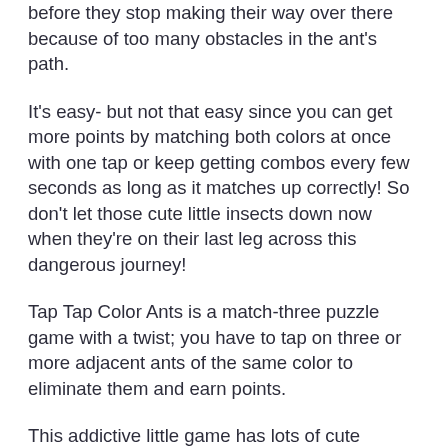before they stop making their way over there because of too many obstacles in the ant's path.
It's easy- but not that easy since you can get more points by matching both colors at once with one tap or keep getting combos every few seconds as long as it matches up correctly! So don't let those cute little insects down now when they're on their last leg across this dangerous journey!
Tap Tap Color Ants is a match-three puzzle game with a twist; you have to tap on three or more adjacent ants of the same color to eliminate them and earn points.
This addictive little game has lots of cute graphics, an ear worm soundtrack, and simple game play that makes it perfect for all ages.
Discover the world of ants in this best anthill simulator! With this game, you can be an ant and experience their life. You will